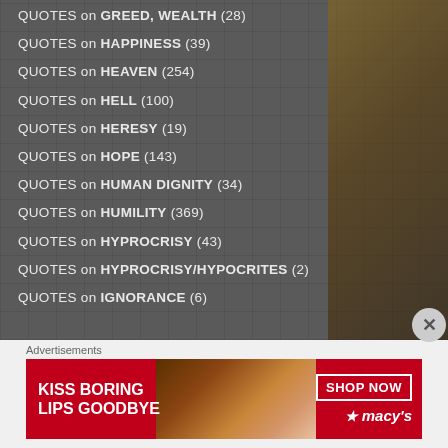QUOTES on GREED, WEALTH (28)
QUOTES on HAPPINESS (39)
QUOTES on HEAVEN (254)
QUOTES on HELL (100)
QUOTES on HERESY (19)
QUOTES on HOPE (143)
QUOTES on HUMAN DIGNITY (34)
QUOTES on HUMILITY (369)
QUOTES on HYPROCRISY (43)
QUOTES on HYPROCRISY/HYPOCRITES (2)
QUOTES on IGNORANCE (6)
Advertisements
[Figure (other): Macy's advertisement banner: KISS BORING LIPS GOODBYE with woman's face, SHOP NOW button and Macy's star logo]